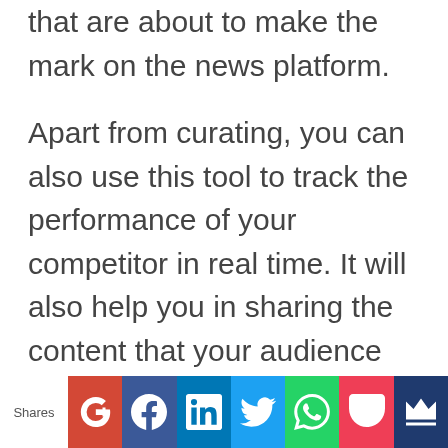that are about to make the mark on the news platform.
Apart from curating, you can also use this tool to track the performance of your competitor in real time. It will also help you in sharing the content that your audience will love to go through.
It will also help you make the content go viral which you find is important for everybody. By updating stories that will
Shares | Google+ | Facebook | LinkedIn | Twitter | WhatsApp | Pocket | Melo